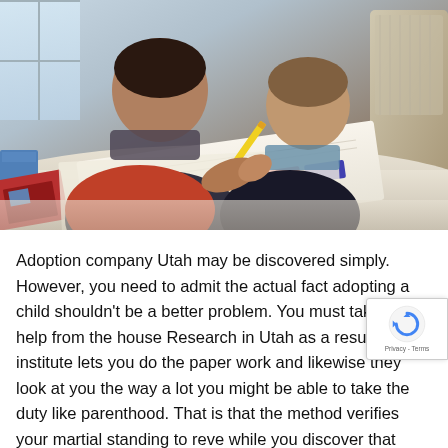[Figure (photo): Two children sitting at a table working together on a colorful worksheet or workbook, one child helping the other with a yellow pencil. A chair is visible in the background on the right, and books and a blue box are on the left side of the table.]
Adoption company Utah may be discovered simply. However, you need to admit the actual fact adopting a child shouldn't be a better problem. You must take the help from the house Research in Utah as a result of this institute lets you do the paper work and likewise they look at you the way a lot you might be able to take the duty like parenthood. That is that the method verifies your martial standing to reve while you discover that each time period you'll be able to